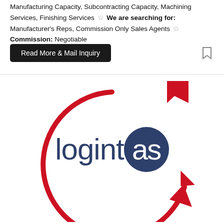Manufacturing Capacity, Subcontracting Capacity, Machining Services, Finishing Services ☆ We are searching for: Manufacturer's Reps, Commission Only Sales Agents ☆ Commission: Negotiable
[Figure (logo): Logintas logo: dark blue text 'logintas' with the letter 'a' replaced by a dark navy blue circle containing white letters 'as', surrounded by a large red circular arrow swoosh.]